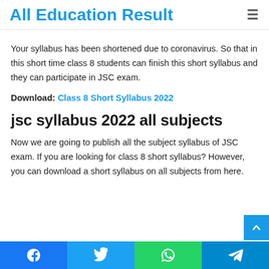All Education Result
Your syllabus has been shortened due to coronavirus. So that in this short time class 8 students can finish this short syllabus and they can participate in JSC exam.
Download: Class 8 Short Syllabus 2022
jsc syllabus 2022 all subjects
Now we are going to publish all the subject syllabus of JSC exam. If you are looking for class 8 short syllabus? However, you can download a short syllabus on all subjects from here.
Facebook | Twitter | WhatsApp | Telegram